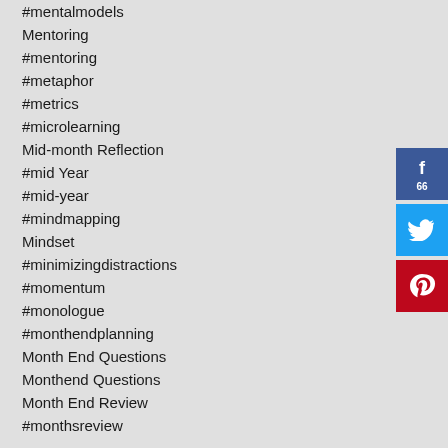#mentalmodels
Mentoring
#mentoring
#metaphor
#metrics
#microlearning
Mid-month Reflection
#mid Year
#mid-year
#mindmapping
Mindset
#minimizingdistractions
#momentum
#monologue
#monthendplanning
Month End Questions
Monthend Questions
Month End Review
#monthsreview